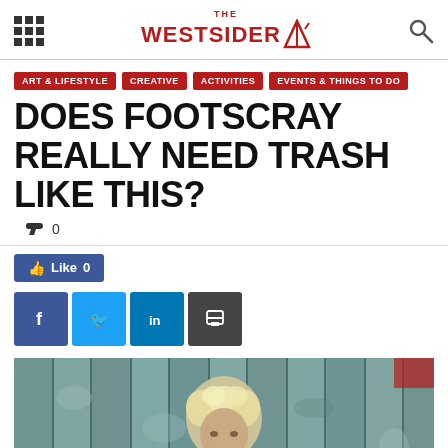THE WESTSIDER
ART & LIFESTYLE
CREATIVE
ACTIVITIES
EVENTS & THINGS TO DO
DOES FOOTSCRAY REALLY NEED TRASH LIKE THIS?
0
Like 0
[Figure (photo): Person with short curly blonde hair in front of a weathered teal/green painted wooden plank wall, looking down slightly]